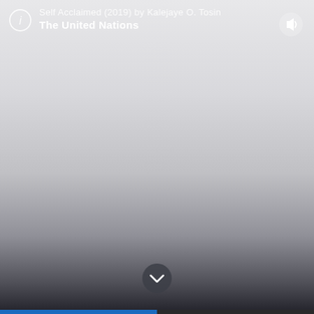Self Acclaimed (2019) by Kalejaye O. Tosin
The United Nations
[Figure (screenshot): Music or media player interface with gradient background (light gray at top fading to near-black at bottom), info icon, volume button, and scroll-down chevron button]